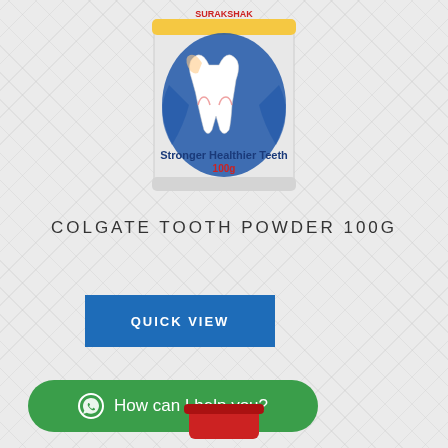[Figure (photo): Colgate tooth powder 100g cylindrical tin container with blue and white design, showing a tooth graphic and text 'Stronger Healthier Teeth 100g']
COLGATE TOOTH POWDER 100G
QUICK VIEW
How can I help you?